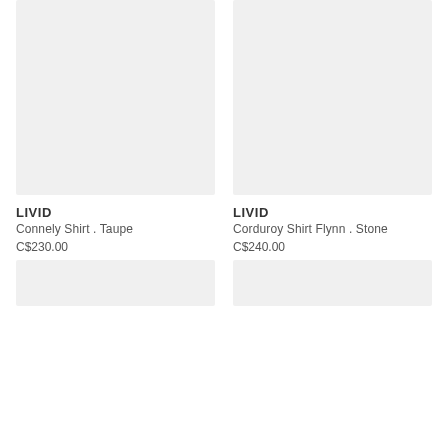[Figure (photo): Product image placeholder for Connely Shirt Taupe, light gray background]
[Figure (photo): Product image placeholder for Corduroy Shirt Flynn Stone, light gray background]
LIVID
Connely Shirt . Taupe
C$230.00
LIVID
Corduroy Shirt Flynn . Stone
C$240.00
[Figure (photo): Product image placeholder bottom left, light gray background]
[Figure (photo): Product image placeholder bottom right, light gray background]